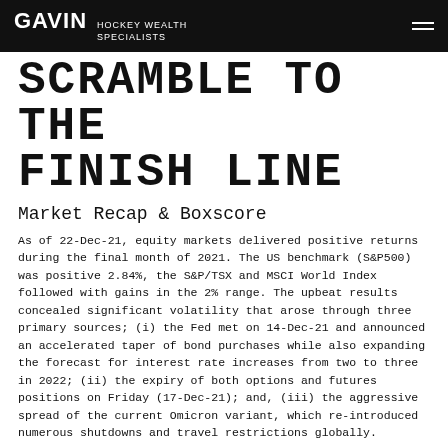GAVIN HOCKEY WEALTH SPECIALISTS
SCRAMBLE TO THE FINISH LINE
Market Recap & Boxscore
As of 22-Dec-21, equity markets delivered positive returns during the final month of 2021. The US benchmark (S&P500) was positive 2.84%, the S&P/TSX and MSCI World Index followed with gains in the 2% range. The upbeat results concealed significant volatility that arose through three primary sources; (i) the Fed met on 14-Dec-21 and announced an accelerated taper of bond purchases while also expanding the forecast for interest rate increases from two to three in 2022; (ii) the expiry of both options and futures positions on Friday (17-Dec-21); and, (iii) the aggressive spread of the current Omicron variant, which re-introduced numerous shutdowns and travel restrictions globally.